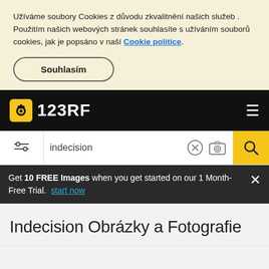Užíváme soubory Cookies z důvodu zkvalitnění našich služeb . Použitím našich webových stránek souhlasíte s užíváním souborů cookies, jak je popsáno v naší Cookie politice.
Souhlasím
123RF
indecision
Get 10 FREE Images when you get started on our 1 Month-Free Trial. start now
Indecision Obrázky a Fotografie